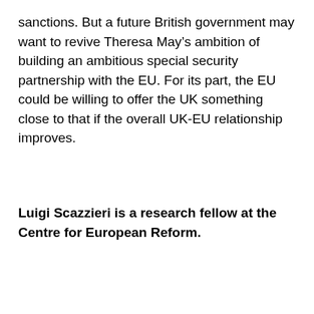sanctions. But a future British government may want to revive Theresa May's ambition of building an ambitious special security partnership with the EU. For its part, the EU could be willing to offer the UK something close to that if the overall UK-EU relationship improves.
Luigi Scazzieri is a research fellow at the Centre for European Reform.